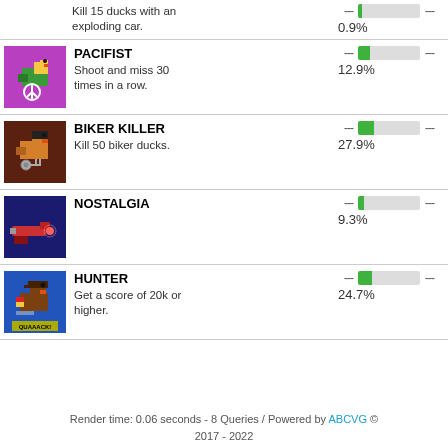Kill 15 ducks with an exploding car. 0.9%
PACIFIST — Shoot and miss 30 times in a row. 12.9%
BIKER KILLER — Kill 50 biker ducks. 27.9%
NOSTALGIA — 9.3%
HUNTER — Get a score of 20k or higher. 24.7%
Render time: 0.06 seconds - 8 Queries / Powered by ABCVG © 2017 - 2022